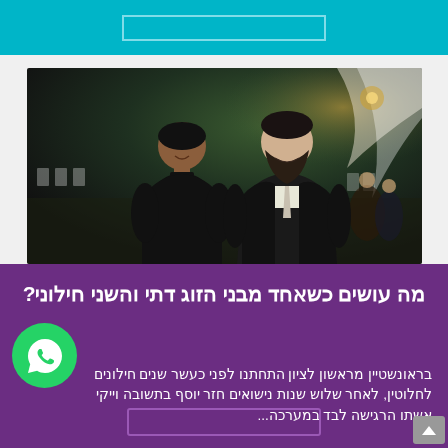[Figure (other): Teal/cyan top banner with a rectangular outline element inside]
[Figure (photo): Photo of a couple at an outdoor evening event. A woman in a black dress and a man with a long beard in a dark suit and white shirt, standing together. Background shows white chairs and trees with warm lighting.]
מה עושים כשאחד מבני הזוג דתי והשני חילוני?
בראונשטיין מראשון לציון התחתנו לפני כעשר שנים חילונים לחלוטין, לאחר שלוש שנות נישואים חזר יוסף בתשובה וייקי אשתו הרגישה לבד במערכה...